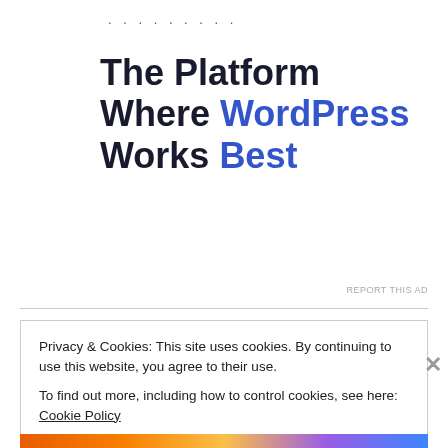. . . . . . . . .
The Platform Where WordPress Works Best
SEE PRICING
REPORT THIS AD
Privacy & Cookies: This site uses cookies. By continuing to use this website, you agree to their use.
To find out more, including how to control cookies, see here: Cookie Policy
Close and accept